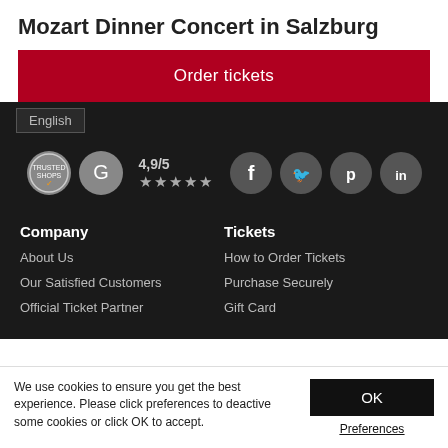Mozart Dinner Concert in Salzburg
Order tickets
English
[Figure (infographic): Rating badges and social media icons row: Trusted Shops badge, Google rating badge, 4,9/5 with five stars, Facebook icon, Twitter icon, Pinterest icon, LinkedIn icon]
Company
About Us
Our Satisfied Customers
Official Ticket Partner
Tickets
How to Order Tickets
Purchase Securely
Gift Card
We use cookies to ensure you get the best experience. Please click preferences to deactive some cookies or click OK to accept.
OK
Preferences